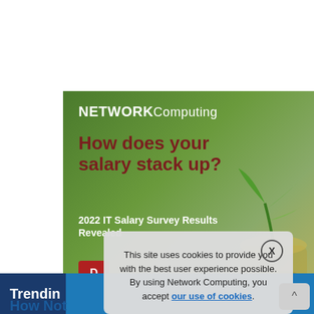[Figure (infographic): Network Computing advertisement banner with green gradient background, headline 'How does your salary stack up?', subheading '2022 IT Salary Survey Results Revealed', logo 'NETWORKComputing', red download button, and plant/coins image on right side.]
Trending
How Not
This site uses cookies to provide you with the best user experience possible. By using Network Computing, you accept our use of cookies.